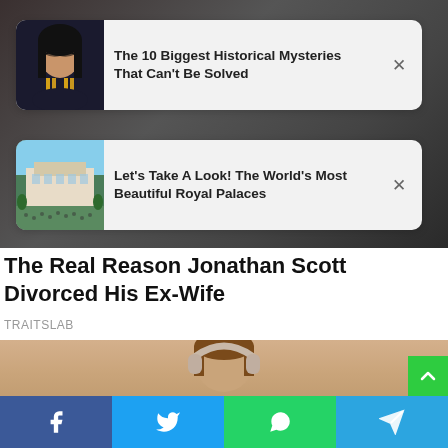[Figure (screenshot): Article recommendation card 1: thumbnail of woman in Cleopatra costume (black hair, gold jewelry) with text 'The 10 Biggest Historical Mysteries That Can't Be Solved' and X close button]
The 10 Biggest Historical Mysteries That Can't Be Solved
[Figure (screenshot): Article recommendation card 2: thumbnail of aerial view of a royal palace with crowds, text 'Let's Take A Look! The World's Most Beautiful Royal Palaces' and X close button]
Let's Take A Look! The World's Most Beautiful Royal Palaces
The Real Reason Jonathan Scott Divorced His Ex-Wife
TRAITSLAB
[Figure (photo): Photo of a person with brown hair wearing headphones against a peach/tan background, cropped to show top of head]
[Figure (other): Green scroll-to-top button with upward chevron icon]
[Figure (infographic): Social share bar with four buttons: Facebook (blue), Twitter (light blue), WhatsApp (green), Telegram (blue)]